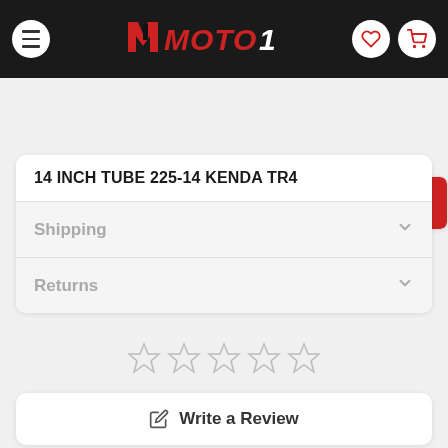MOTO1
Search
14 INCH TUBE 225-14 KENDA TR4
Shipping
Returns
[Figure (other): Five empty star rating icons]
Write a Review